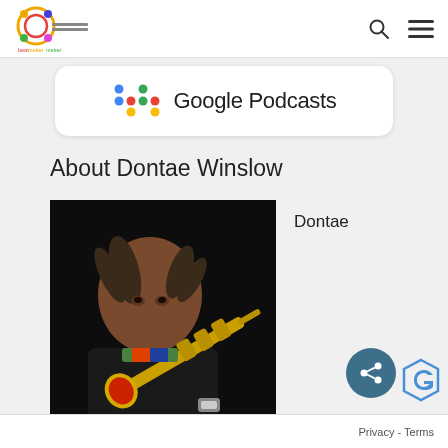BeatMakerMaker / Google Podcasts navigation header
[Figure (logo): BeatMakerMaker logo with colorful circular graphic and text]
[Figure (logo): Google Podcasts logo with colorful microphone dots and text reading Google Podcasts]
About Dontae Winslow
[Figure (photo): Photo of Dontae Winslow holding a gold trumpet, wearing black leather jacket, dark background]
Dontae
Privacy - Terms